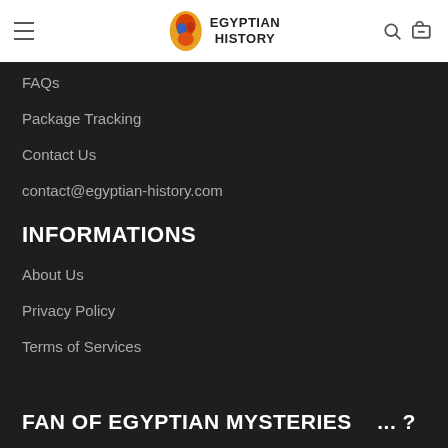EGYPTIAN HISTORY
FAQs
Package Tracking
Contact Us
contact@egyptian-history.com
INFORMATIONS
About Us
Privacy Policy
Terms of Services
FAN OF EGYPTIAN MYSTERIES   ... ?